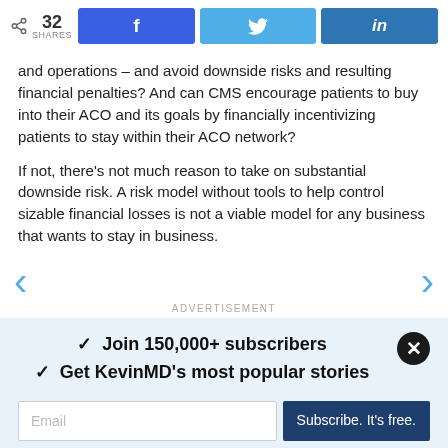[Figure (other): Social share bar with share icon showing 32 SHARES, and three buttons: Facebook (f), Twitter (bird), LinkedIn (in)]
and operations – and avoid downside risks and resulting financial penalties? And can CMS encourage patients to buy into their ACO and its goals by financially incentivizing patients to stay within their ACO network?
If not, there's not much reason to take on substantial downside risk. A risk model without tools to help control sizable financial losses is not a viable model for any business that wants to stay in business.
[Figure (other): Navigation arrows: left chevron (previous) and right chevron (next) in blue]
ADVERTISEMENT
✓  Join 150,000+ subscribers
✓  Get KevinMD's most popular stories
[Figure (other): Email subscription box with Email input field and 'Subscribe. It's free.' button, close X button top right]